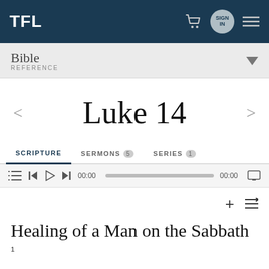TFL
Bible REFERENCE
Luke 14
SCRIPTURE   SERMONS 5   SERIES 1
00:00   00:00
Healing of a Man on the Sabbath